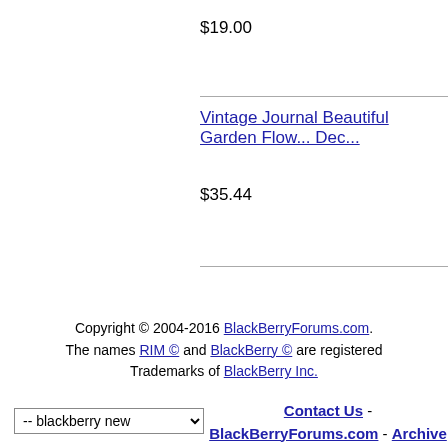$19.00
Vintage Journal Beautiful Garden Flow... Dec...
$35.44
Copyright © 2004-2016 BlackBerryForums.com. The names RIM © and BlackBerry © are registered Trademarks of BlackBerry Inc.
Contact Us - BlackBerryForums.com - Archive - Top